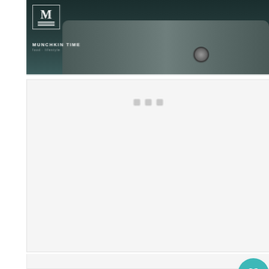[Figure (photo): Dark teal/grey air fryer or grill appliance photographed from above, with Munchkin Time logo watermark in top-left corner. Logo shows stylized 'M' in a box with horizontal lines and text 'MUNCHKIN TIME' beneath.]
[Figure (screenshot): Light grey advertisement placeholder container with three small grey squares/dots centered near the top, indicating an ad loading area.]
[Figure (infographic): Teal circular like/heart button showing a heart icon, with '24.1K' count below it, and a teal circular share button with a share icon below that.]
24.1K
[Figure (screenshot): What's Next card showing a thumbnail of fried food (Bang Bang style) on the left, and text 'WHAT'S NEXT → 20-Minute Bang Bang...' on the right.]
WHAT'S NEXT → 20-Minute Bang Bang...